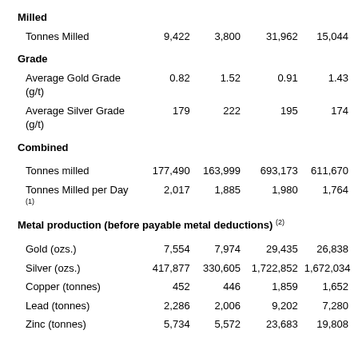|  |  |  |  |  |
| --- | --- | --- | --- | --- |
| Milled |  |  |  |  |
| Tonnes Milled | 9,422 | 3,800 | 31,962 | 15,044 |
| Grade |  |  |  |  |
| Average Gold Grade (g/t) | 0.82 | 1.52 | 0.91 | 1.43 |
| Average Silver Grade (g/t) | 179 | 222 | 195 | 174 |
| Combined |  |  |  |  |
| Tonnes milled | 177,490 | 163,999 | 693,173 | 611,670 |
| Tonnes Milled per Day (1) | 2,017 | 1,885 | 1,980 | 1,764 |
| Metal production (before payable metal deductions) (2) |  |  |  |  |
| Gold (ozs.) | 7,554 | 7,974 | 29,435 | 26,838 |
| Silver (ozs.) | 417,877 | 330,605 | 1,722,852 | 1,672,034 |
| Copper (tonnes) | 452 | 446 | 1,859 | 1,652 |
| Lead (tonnes) | 2,286 | 2,006 | 9,202 | 7,280 |
| Zinc (tonnes) | 5,734 | 5,572 | 23,683 | 19,808 |